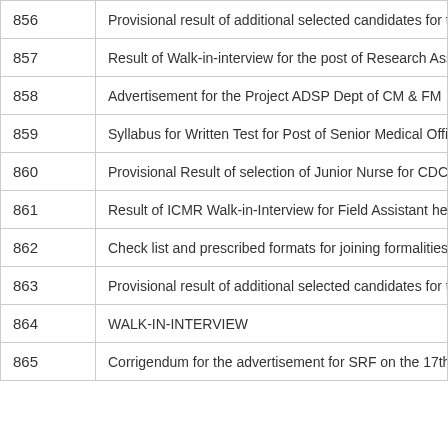| No. | Description |
| --- | --- |
| 856 | Provisional result of additional selected candidates for the post o... |
| 857 | Result of Walk-in-interview for the post of Research Assisatnt |
| 858 | Advertisement for the Project ADSP Dept of CM & FM |
| 859 | Syllabus for Written Test for Post of Senior Medical Officer (Ayur... |
| 860 | Provisional Result of selection of Junior Nurse for CDC funded M... |
| 861 | Result of ICMR Walk-in-Interview for Field Assistant held on 10-... |
| 862 | Check list and prescribed formats for joining formalities for the P... |
| 863 | Provisional result of additional selected candidates for the post o... |
| 864 | WALK-IN-INTERVIEW |
| 865 | Corrigendum for the advertisement for SRF on the 17th of Nov |